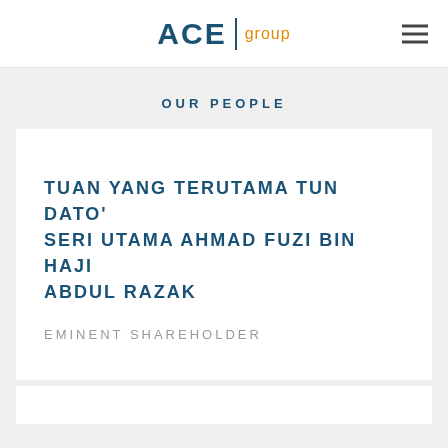ACE | group
OUR PEOPLE
TUAN YANG TERUTAMA TUN DATO' SERI UTAMA AHMAD FUZI BIN HAJI ABDUL RAZAK
EMINENT SHAREHOLDER